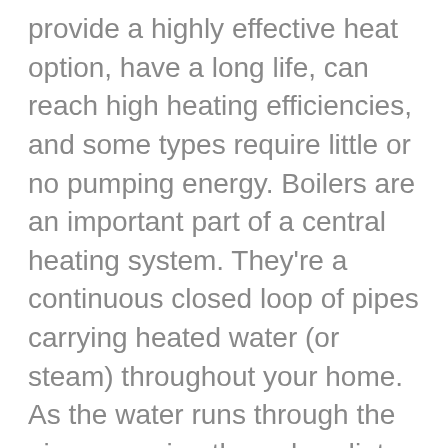provide a highly effective heat option, have a long life, can reach high heating efficiencies, and some types require little or no pumping energy. Boilers are an important part of a central heating system. They're a continuous closed loop of pipes carrying heated water (or steam) throughout your home. As the water runs through the pipes, running through radiators, the hot water cools on its path as it gives off its heat, heating your rooms, then returns back to the boiler to be reheated again. The boiler keeps firing, to continuously reheat the returned cool water, and then sends it on its way again throughout your home.